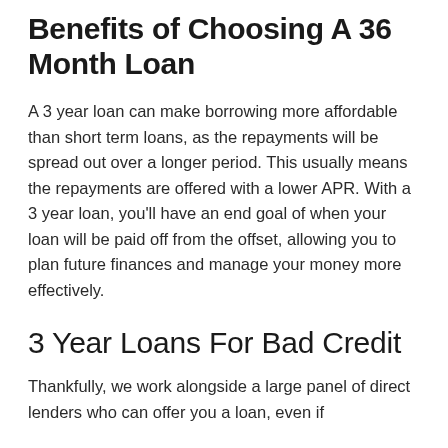Benefits of Choosing A 36 Month Loan
A 3 year loan can make borrowing more affordable than short term loans, as the repayments will be spread out over a longer period. This usually means the repayments are offered with a lower APR. With a 3 year loan, you'll have an end goal of when your loan will be paid off from the offset, allowing you to plan future finances and manage your money more effectively.
3 Year Loans For Bad Credit
Thankfully, we work alongside a large panel of direct lenders who can offer you a loan, even if